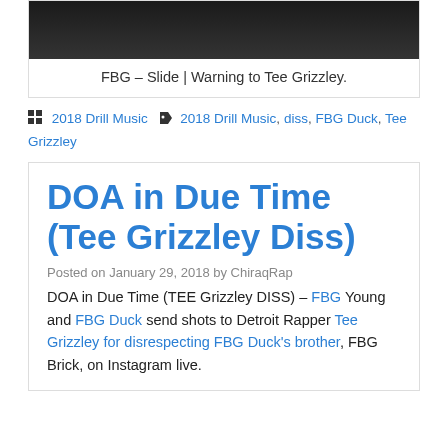[Figure (screenshot): Dark video thumbnail showing a person partially visible at top]
FBG – Slide | Warning to Tee Grizzley.
2018 Drill Music  2018 Drill Music, diss, FBG Duck, Tee Grizzley
DOA in Due Time (Tee Grizzley Diss)
Posted on January 29, 2018 by ChiraqRap
DOA in Due Time (TEE Grizzley DISS) – FBG Young and FBG Duck send shots to Detroit Rapper Tee Grizzley for disrespecting FBG Duck's brother, FBG Brick, on Instagram live.